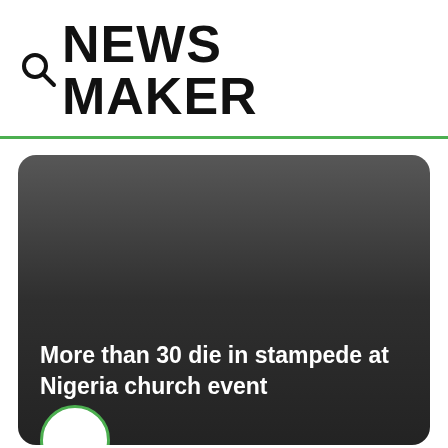NEWS MAKER
[Figure (screenshot): Dark rounded news card with headline text and a circular avatar at the bottom-left]
More than 30 die in stampede at Nigeria church event